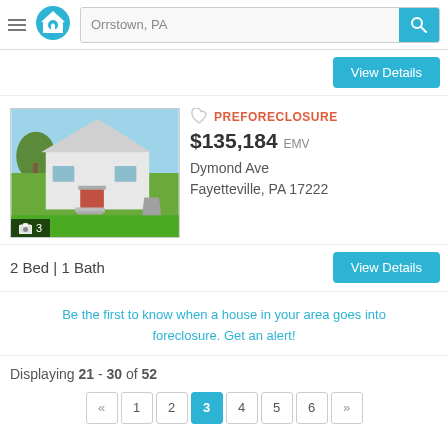[Figure (screenshot): Real estate website header with hamburger menu, home logo, search bar showing 'Orrstown, PA', and cyan search button]
[Figure (photo): Exterior photo of a small white ranch-style house with green lawn, with photo count badge showing camera icon and '3']
PREFORECLOSURE
$135,184 EMV
Dymond Ave Fayetteville, PA 17222
2 Bed | 1 Bath
Be the first to know when a house in your area goes into foreclosure. Get an alert!
Displaying 21 - 30 of 52
« 1 2 3 4 5 6 »